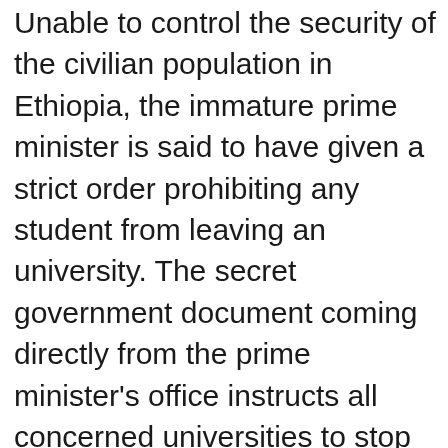Unable to control the security of the civilian population in Ethiopia, the immature prime minister is said to have given a strict order prohibiting any student from leaving an university. The secret government document coming directly from the prime minister's office instructs all concerned universities to stop all students especially those from Tigrai state from leaving their campuses.